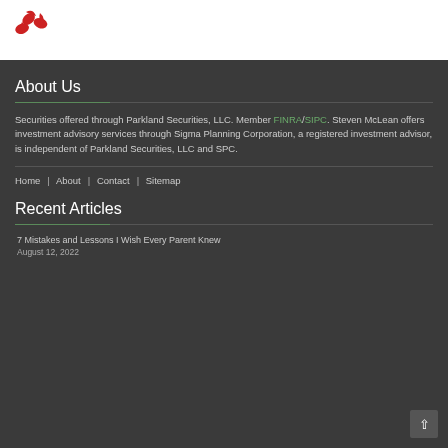[Figure (logo): Red pinwheel/flower logo icon]
About Us
Securities offered through Parkland Securities, LLC. Member FINRA/SIPC. Steven McLean offers investment advisory services through Sigma Planning Corporation, a registered investment advisor, is independent of Parkland Securities, LLC and SPC.
Home | About | Contact | Sitemap
Recent Articles
7 Mistakes and Lessons I Wish Every Parent Knew
August 12, 2022